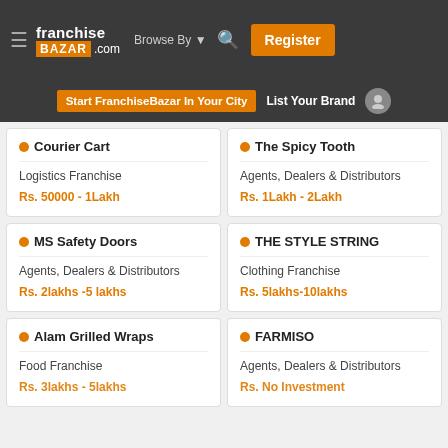franchise BAZAR .com | Browse By | Register
Start FranchiseBazar In Your City | List Your Brand
Courier Cart – Logistics Franchise – Rs. 50000 - 1Lakh
The Spicy Tooth – Agents, Dealers & Distributors – Rs. 1Lakh - 2Lakh
MS Safety Doors – Agents, Dealers & Distributors – Rs. 2lakhs -5 lakhs
THE STYLE STRING – Clothing Franchise – Rs. 5lakhs-10lakhs
Alam Grilled Wraps – Food Franchise – Rs. 3lakhs - 5lakhs
FARMISO – Agents, Dealers & Distributors – Rs. No Investment